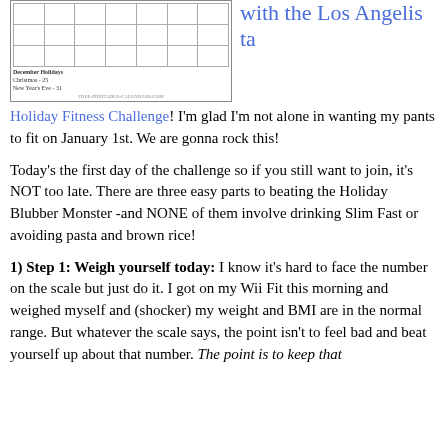[Figure (illustration): A December calendar with holidays listed: Christmas - 25, New Year's Eve - 31. URL: free-printable-calendars.com]
with the Los Angelista Holiday Fitness Challenge
Holiday Fitness Challenge! I'm glad I'm not alone in wanting my pants to fit on January 1st. We are gonna rock this!
Today's the first day of the challenge so if you still want to join, it's NOT too late. There are three easy parts to beating the Holiday Blubber Monster -and NONE of them involve drinking Slim Fast or avoiding pasta and brown rice!
1) Step 1: Weigh yourself today: I know it's hard to face the number on the scale but just do it. I got on my Wii Fit this morning and weighed myself and (shocker) my weight and BMI are in the normal range. But whatever the scale says, the point isn't to feel bad and beat yourself up about that number. The point is to keep that